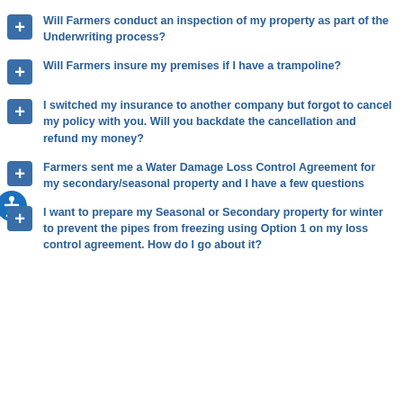Will Farmers conduct an inspection of my property as part of the Underwriting process?
Will Farmers insure my premises if I have a trampoline?
I switched my insurance to another company but forgot to cancel my policy with you. Will you backdate the cancellation and refund my money?
Farmers sent me a Water Damage Loss Control Agreement for my secondary/seasonal property and I have a few questions
I want to prepare my Seasonal or Secondary property for winter to prevent the pipes from freezing using Option 1 on my loss control agreement. How do I go about it?